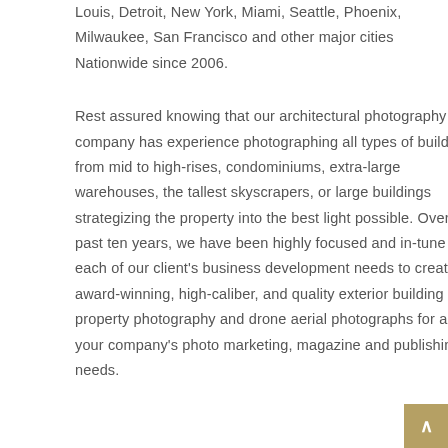Louis, Detroit, New York, Miami, Seattle, Phoenix, Milwaukee, San Francisco and other major cities Nationwide since 2006.
Rest assured knowing that our architectural photography company has experience photographing all types of buildings from mid to high-rises, condominiums, extra-large warehouses, the tallest skyscrapers, or large buildings strategizing the property into the best light possible. Over the past ten years, we have been highly focused and in-tune to each of our client's business development needs to create award-winning, high-caliber, and quality exterior building property photography and drone aerial photographs for all of your company's photo marketing, magazine and publishing needs.